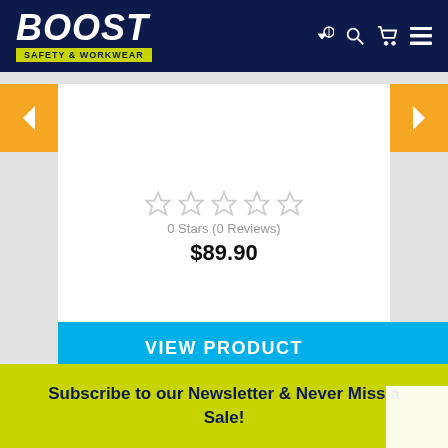BOOST SAFETY & WORKWEAR
[Figure (screenshot): Product carousel card showing 0 Stars (0 Reviews) and price $89.90 with VIEW PRODUCT button]
0 Stars (0 Reviews)
$89.90
VIEW PRODUCT
Subscribe to our Newsletter & Never Miss a Sale!